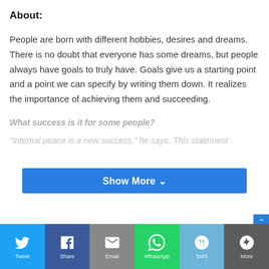About:
People are born with different hobbies, desires and dreams. There is no doubt that everyone has some dreams, but people always have goals to truly have. Goals give us a starting point and a point we can specify by writing them down. It realizes the importance of achieving them and succeeding.
What success is it for some people?
“Internal peace is a new success,” he says. This statement
Show More ⌄
[Figure (other): Social sharing bar with icons for Twitter, Facebook, Email, WhatsApp, SMS, and More]